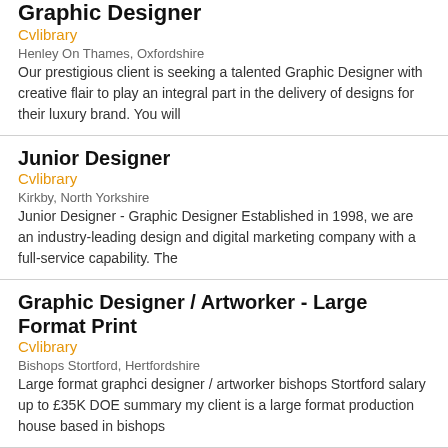Graphic Designer
Cvlibrary
Henley On Thames, Oxfordshire
Our prestigious client is seeking a talented Graphic Designer with creative flair to play an integral part in the delivery of designs for their luxury brand. You will
Junior Designer
Cvlibrary
Kirkby, North Yorkshire
Junior Designer - Graphic Designer Established in 1998, we are an industry-leading design and digital marketing company with a full-service capability. The
Graphic Designer / Artworker - Large Format Print
Cvlibrary
Bishops Stortford, Hertfordshire
Large format graphci designer / artworker bishops Stortford salary up to £35K DOE summary my client is a large format production house based in bishops
Junior Designer
Cvlibrary
South West, England